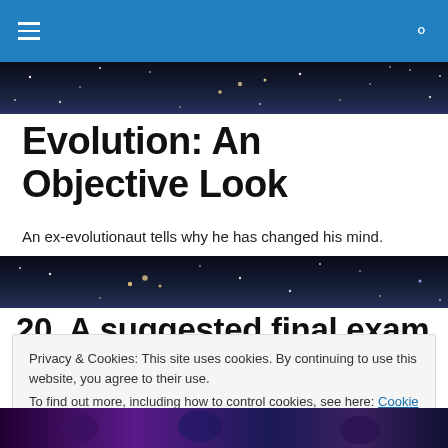≡  🔍
[Figure (photo): Space/stars banner image across top]
Evolution: An Objective Look
An ex-evolutionaut tells why he has changed his mind.
[Figure (photo): Space/stars banner image in middle]
20. A suggested final exam (and answers) for Evolution
Privacy & Cookies: This site uses cookies. By continuing to use this website, you agree to their use.
To find out more, including how to control cookies, see here: Cookie Policy
Close and accept
[Figure (photo): Dark artistic image at bottom of page]